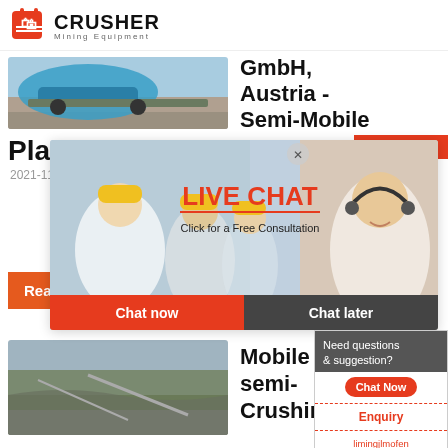[Figure (logo): Crusher Mining Equipment logo with red shopping bag icon and bold text]
[Figure (photo): Blue mining crusher machine on a road/terrain]
GmbH, Austria - Semi-Mobile
Plants
24Hrs Online
2021-11-2…
[Figure (screenshot): Live Chat popup overlay showing workers in hard hats, 'LIVE CHAT' text in red, 'Click for a Free Consultation', Chat now and Chat later buttons, and a customer service representative on the right]
Read M…
Need questions & suggestion?
Chat Now
Enquiry
limingjlmofen@sina.com
[Figure (photo): Aerial view of mining site with roads and terrain]
Mobile semi- Crushing